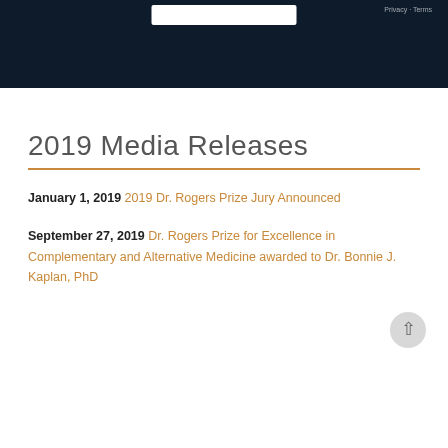[Figure (screenshot): Dark navy banner at the top of the page with a white search/input box and small 'Privacy · Terms' text in the top right corner.]
2019 Media Releases
January 1, 2019  2019 Dr. Rogers Prize Jury Announced
September 27, 2019  Dr. Rogers Prize for Excellence in Complementary and Alternative Medicine awarded to Dr. Bonnie J. Kaplan, PhD